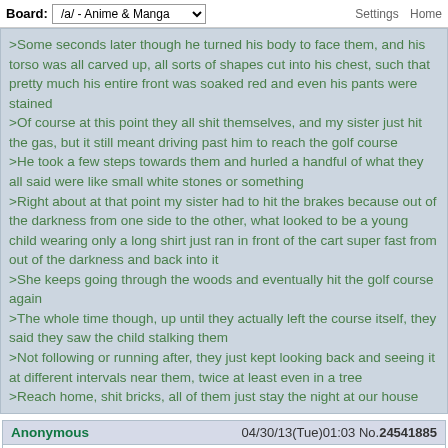Board: /a/ - Anime & Manga   Settings  Home
>Some seconds later though he turned his body to face them, and his torso was all carved up, all sorts of shapes cut into his chest, such that pretty much his entire front was soaked red and even his pants were stained
>Of course at this point they all shit themselves, and my sister just hit the gas, but it still meant driving past him to reach the golf course
>He took a few steps towards them and hurled a handful of what they all said were like small white stones or something
>Right about at that point my sister had to hit the brakes because out of the darkness from one side to the other, what looked to be a young child wearing only a long shirt just ran in front of the cart super fast from out of the darkness and back into it
>She keeps going through the woods and eventually hit the golf course again
>The whole time though, up until they actually left the course itself, they said they saw the child stalking them
>Not following or running after, they just kept looking back and seeing it at different intervals near them, twice at least even in a tree
>Reach home, shit bricks, all of them just stay the night at our house
Anonymous   04/30/13(Tue)01:03 No.24541885

How do I know that I'm not a skinwalker?

Like, what if I stole my skin, but in order to blend in I've completely internalized my personality and now believe my skin to be my actual skin?